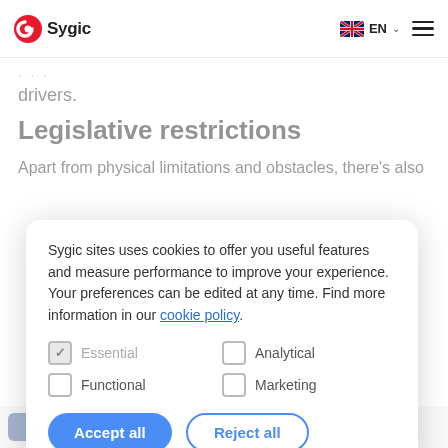Sygic  EN
drivers.
Legislative restrictions
Apart from physical limitations and obstacles, there's also
Sygic sites uses cookies to offer you useful features and measure performance to improve your experience. Your preferences can be edited at any time. Find more information in our cookie policy.
Essential  Analytical  Functional  Marketing
Accept all  Reject all